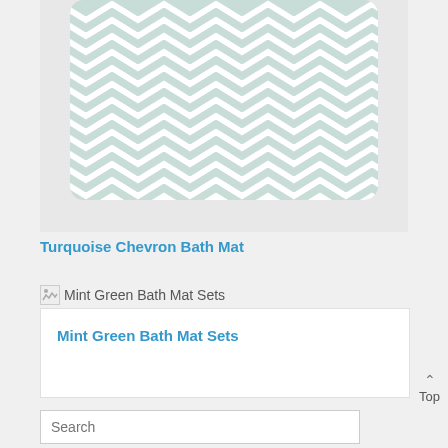[Figure (photo): A turquoise and white chevron patterned bath mat with rounded corners on a light gray background]
Turquoise Chevron Bath Mat
Mint Green Bath Mat Sets
Mint Green Bath Mat Sets
Top
Search